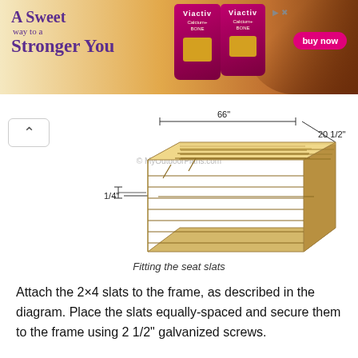[Figure (illustration): Advertisement banner for Viactiv Calcium+ Bone supplements with text 'A Sweet way to a Stronger You' and 'buy now' button, featuring two pink product packages against a caramel/chocolate background.]
[Figure (engineering-diagram): 3D perspective illustration of a wooden seat slat assembly. A rectangular plank with 6 horizontal slats is shown with dimension annotations: 66 inches length, 20 1/2 inches width, and 1/4 inch spacing between slats. Watermark: © MyOutdoorPlans.com]
Fitting the seat slats
Attach the 2×4 slats to the frame, as described in the diagram. Place the slats equally-spaced and secure them to the frame using 2 1/2" galvanized screws.